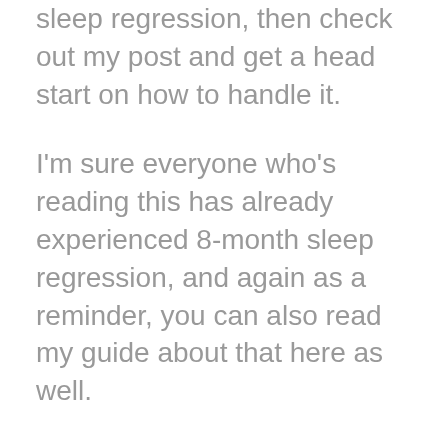sleep regression, then check out my post and get a head start on how to handle it.
I'm sure everyone who's reading this has already experienced 8-month sleep regression, and again as a reminder, you can also read my guide about that here as well.
I hope I addressed any questions or concerns you had about 12-month sleep regression in your baby. How did you deal with the last regression? Are your methods that you used the last time working this time? Are there any specific little quirks or signs that